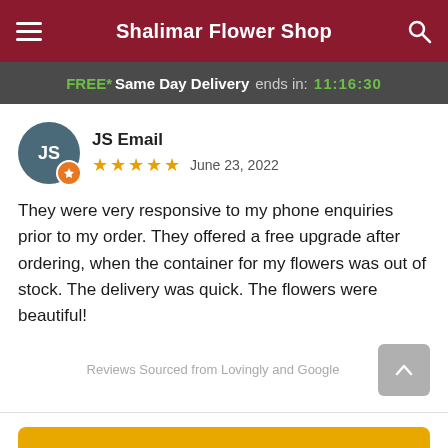Shalimar Flower Shop
FREE* Same Day Delivery ends in: 11:16:30
JS Email
★★★★★ June 23, 2022
They were very responsive to my phone enquiries prior to my order. They offered a free upgrade after ordering, when the container for my flowers was out of stock. The delivery was quick. The flowers were beautiful!
Reviews Sourced from Lovingly and Google
Start Order